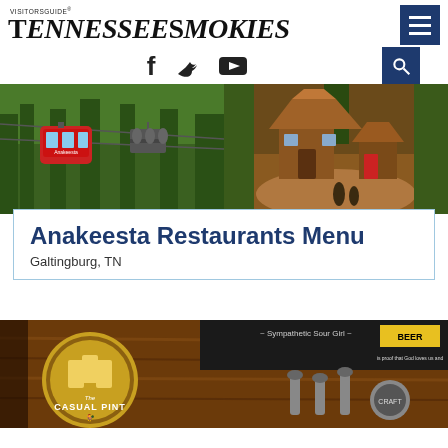VisitorsGuide Tennessee Smokies
[Figure (screenshot): Tennessee Smokies Visitors Guide website header with logo and navigation icons (Facebook, Twitter, YouTube, search, hamburger menu)]
[Figure (photo): Two-panel photo strip: left shows red gondola cable car and ski lift chairs against green mountain trees; right shows rustic wooden fairy-tale treehouse structures at Anakeesta]
Anakeesta Restaurants Menu
Galtingburg, TN
[Figure (photo): Interior of The Casual Pint bar/restaurant showing wooden bar top with beer taps, chalkboard menus, and The Casual Pint logo sign with beer mugs graphic]